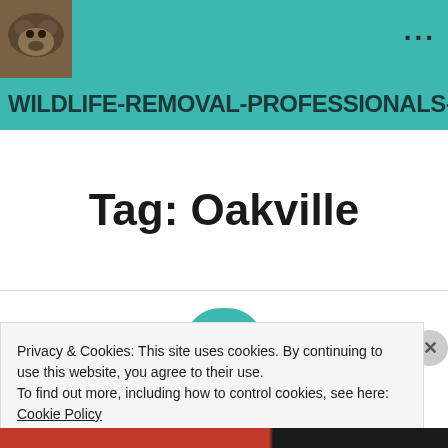WILDLIFE-REMOVAL-PROFESSIONALS-AN
Tag: Oakville
Privacy & Cookies: This site uses cookies. By continuing to use this website, you agree to their use.
To find out more, including how to control cookies, see here: Cookie Policy
Close and accept